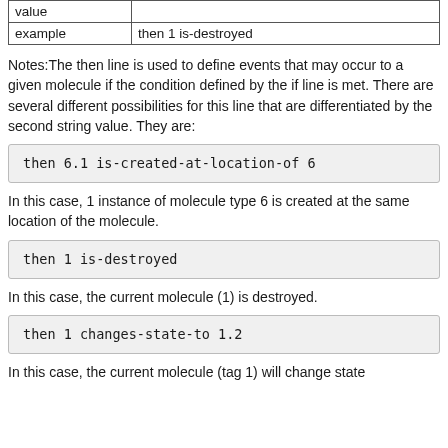| value |  |
| --- | --- |
| example | then 1 is-destroyed |
Notes:The then line is used to define events that may occur to a given molecule if the condition defined by the if line is met. There are several different possibilities for this line that are differentiated by the second string value. They are:
then 6.1 is-created-at-location-of 6
In this case, 1 instance of molecule type 6 is created at the same location of the molecule.
then 1 is-destroyed
In this case, the current molecule (1) is destroyed.
then 1 changes-state-to 1.2
In this case, the current molecule (tag 1) will change state